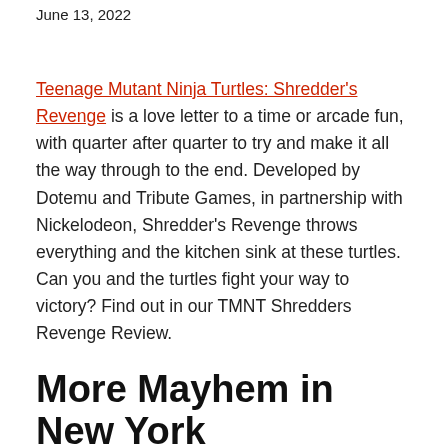June 13, 2022
Teenage Mutant Ninja Turtles: Shredder's Revenge is a love letter to a time or arcade fun, with quarter after quarter to try and make it all the way through to the end. Developed by Dotemu and Tribute Games, in partnership with Nickelodeon, Shredder’s Revenge throws everything and the kitchen sink at these turtles. Can you and the turtles fight your way to victory? Find out in our TMNT Shredders Revenge Review.
More Mayhem in New York
[Figure (photo): Broken image placeholder labeled 'TMNT Shredders Revenge Review']
The turtles are enjoying a nice break in the action when a